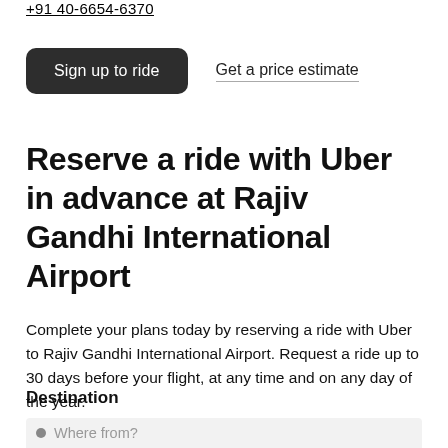+91 40-6654-6370
Sign up to ride
Get a price estimate
Reserve a ride with Uber in advance at Rajiv Gandhi International Airport
Complete your plans today by reserving a ride with Uber to Rajiv Gandhi International Airport. Request a ride up to 30 days before your flight, at any time and on any day of the year.
Destination
Where from?